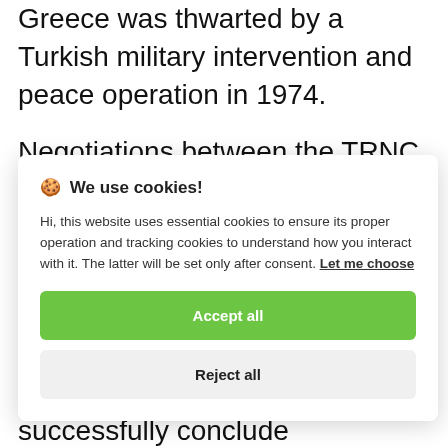Greece was thwarted by a Turkish military intervention and peace operation in 1974.
Negotiations between the TRNC and the Greek Cypriot administration resumed
[Figure (screenshot): Cookie consent modal overlay with title 'We use cookies!', body text about essential and tracking cookies, 'Let me choose' link, 'Accept all' green button, and 'Reject all' grey button.]
successfully conclude negotiations with